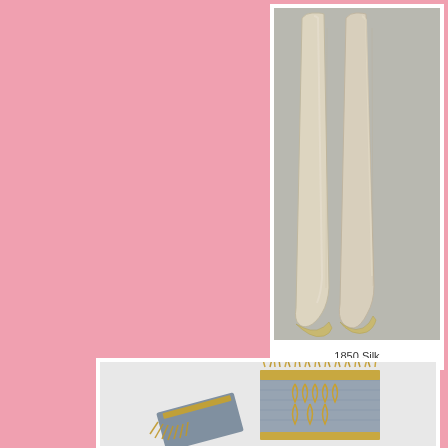[Figure (photo): Two cream/ivory colored silk stockings laid flat on a gray background, showing their full length with slightly flared bottoms, 1850 era]
1850 Silk
[Figure (photo): Decorative textile pieces with golden fringe and blue/gray woven fabric with gold embroidered leaf/floral pattern, shown on white background]